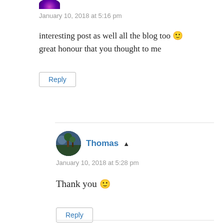[Figure (illustration): Small circular avatar with purple flower/snowflake pattern]
January 10, 2018 at 5:16 pm
interesting post as well all the blog too 🙂 great honour that you thought to me
Reply
[Figure (photo): Small circular avatar photo of Thomas showing outdoor scene]
Thomas ▲
January 10, 2018 at 5:28 pm
Thank you 🙂
Reply